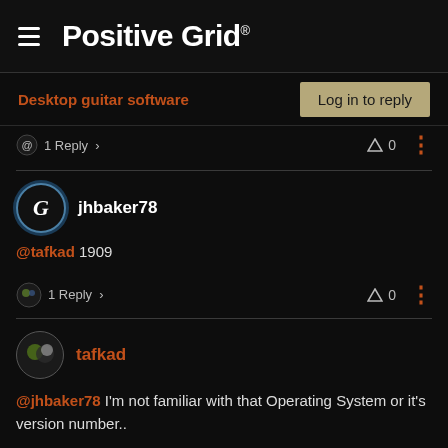Positive Grid
Desktop guitar software
1 Reply   0
jhbaker78
@tafkad 1909
1 Reply   0
tafkad
@jhbaker78 I'm not familiar with that Operating System or it's version number..
1 Reply   0